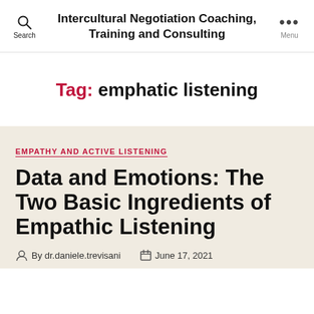Intercultural Negotiation Coaching, Training and Consulting
Tag: emphatic listening
EMPATHY AND ACTIVE LISTENING
Data and Emotions: The Two Basic Ingredients of Empathic Listening
By dr.daniele.trevisani  June 17, 2021